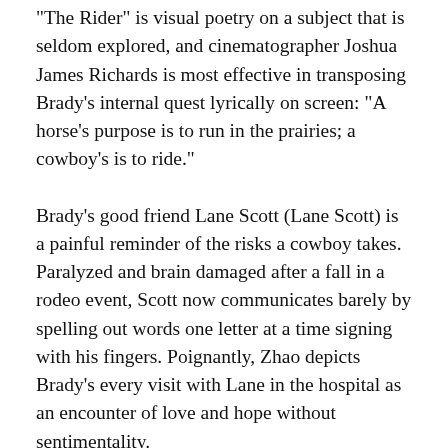“The Rider” is visual poetry on a subject that is seldom explored, and cinematographer Joshua James Richards is most effective in transposing Brady’s internal quest lyrically on screen: “A horse’s purpose is to run in the prairies; a cowboy’s is to ride.”
Brady’s good friend Lane Scott (Lane Scott) is a painful reminder of the risks a cowboy takes. Paralyzed and brain damaged after a fall in a rodeo event, Scott now communicates barely by spelling out words one letter at a time signing with his fingers. Poignantly, Zhao depicts Brady’s every visit with Lane in the hospital as an encounter of love and hope without sentimentality.
Zhao is nuanced and eloquent in creating impressionistic scenes. And when horse and man are juxtaposed in such intimacy, the parallel is